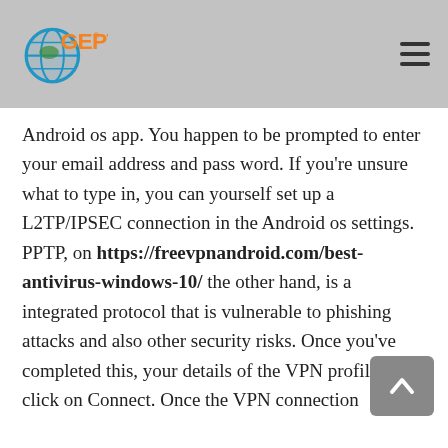GEPT logo and navigation header
Android os app. You happen to be prompted to enter your email address and pass word. If you're unsure what to type in, you can yourself set up a L2TP/IPSEC connection in the Android os settings. PPTP, on https://freevpnandroid.com/best-antivirus-windows-10/ the other hand, is a integrated protocol that is vulnerable to phishing attacks and also other security risks. Once you've completed this, your details of the VPN profile and click on Connect. Once the VPN connection